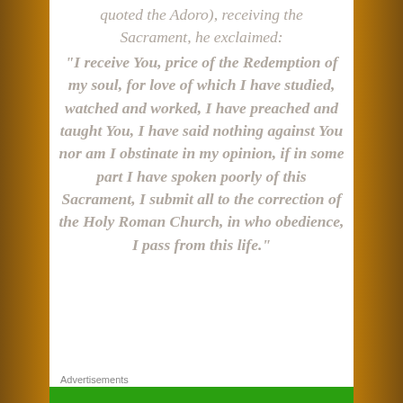quoted the Adoro), receiving the Sacrament, he exclaimed:
“I receive You, price of the Redemption of my soul, for love of which I have studied, watched and worked, I have preached and taught You, I have said nothing against You nor am I obstinate in my opinion, if in some part I have spoken poorly of this Sacrament, I submit all to the correction of the Holy Roman Church, in who obedience, I pass from this life.”
Advertisements